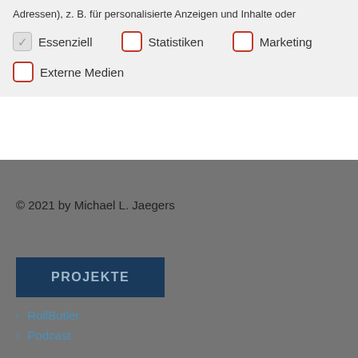Adressen), z. B. für personalisierte Anzeigen und Inhalte oder
✓ Essenziell
☐ Statistiken
☐ Marketing
☐ Externe Medien
© 2021 by Michael L. Jaegers
PROJEKTE
> RollButler
> Podcast